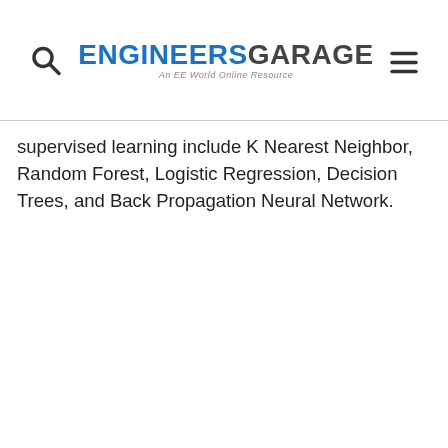ENGINEERS GARAGE — An EE World Online Resource
supervised learning include K Nearest Neighbor, Random Forest, Logistic Regression, Decision Trees, and Back Propagation Neural Network.